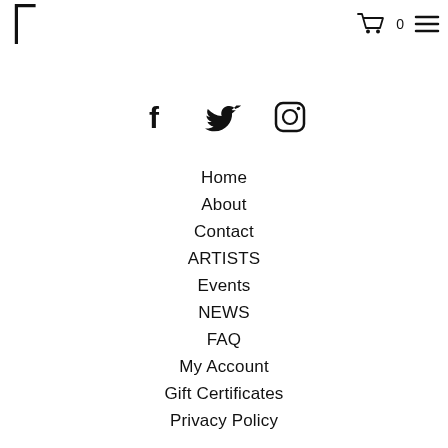[Logo] 0 [Menu]
[Figure (illustration): Three social media icons: Facebook (f), Twitter (bird), Instagram (camera circle)]
Home
About
Contact
ARTISTS
Events
NEWS
FAQ
My Account
Gift Certificates
Privacy Policy